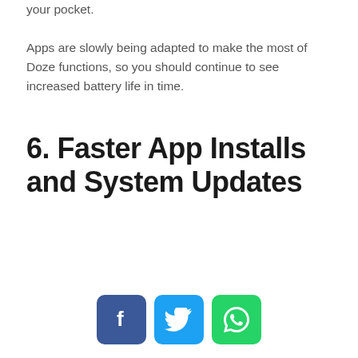your pocket. Apps are slowly being adapted to make the most of Doze functions, so you should continue to see increased battery life in time.
6. Faster App Installs and System Updates
[Figure (infographic): Three social sharing buttons: Facebook (blue), Twitter (light blue), WhatsApp (green)]